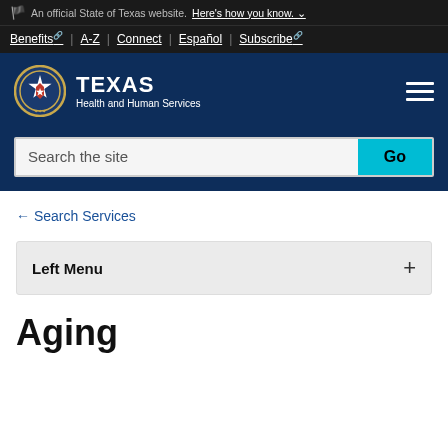An official State of Texas website. Here's how you know.
Benefits | A-Z | Connect | Español | Subscribe
[Figure (logo): Texas Health and Human Services logo with Texas state seal and TEXAS wordmark]
Search the site
← Search Services
Left Menu +
Aging